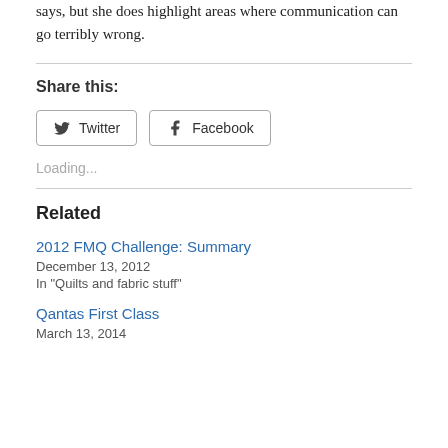Pamela's article. You may not agree with everything she says, but she does highlight areas where communication can go terribly wrong.
Share this:
Loading...
Related
2012 FMQ Challenge: Summary
December 13, 2012
In "Quilts and fabric stuff"
Qantas First Class
March 13, 2014